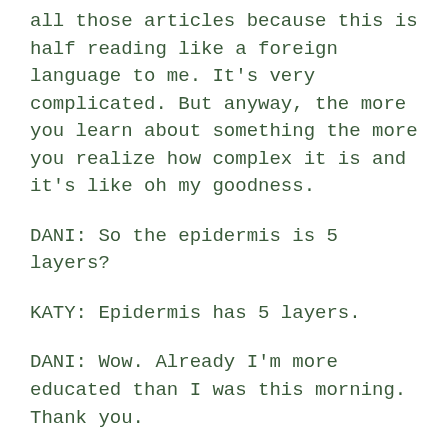all those articles because this is half reading like a foreign language to me. It's very complicated. But anyway, the more you learn about something the more you realize how complex it is and it's like oh my goodness.
DANI: So the epidermis is 5 layers?
KATY: Epidermis has 5 layers.
DANI: Wow. Already I'm more educated than I was this morning. Thank you.
KATY: Well and I think that it depends on what you're reading, right? If you're reading something simple like my book, which is a lay person's book not about skin. It just throws